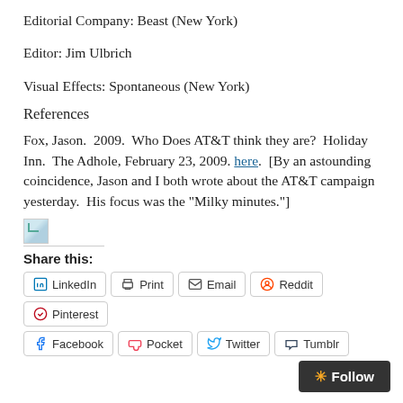Editorial Company: Beast (New York)
Editor: Jim Ulbrich
Visual Effects: Spontaneous (New York)
References
Fox, Jason.  2009.  Who Does AT&T think they are?  Holiday Inn.  The Adhole, February 23, 2009. here.  [By an astounding coincidence, Jason and I both wrote about the AT&T campaign yesterday.  His focus was the "Milky minutes."]
[Figure (other): Broken/placeholder image icon]
Share this:
LinkedIn  Print  Email  Reddit  Pinterest  Facebook  Pocket  Twitter  Tumblr
Follow